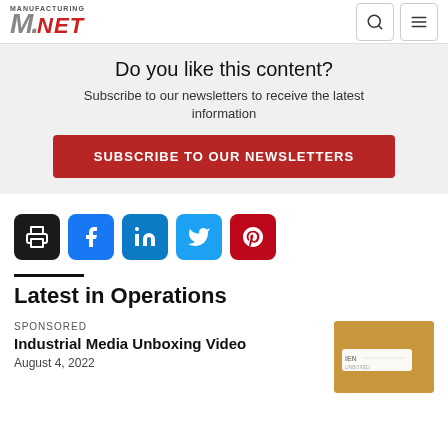Manufacturing.NET
Do you like this content?
Subscribe to our newsletters to receive the latest information
SUBSCRIBE TO OUR NEWSLETTERS
[Figure (infographic): Social sharing icons: print, Facebook, LinkedIn, Twitter, Pinterest]
Latest in Operations
SPONSORED
Industrial Media Unboxing Video
August 4, 2022